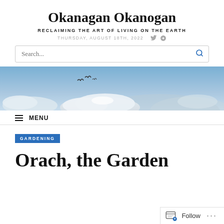Okanagan Okanogan
RECLAIMING THE ART OF LIVING ON THE EARTH
THURSDAY, AUGUST 18TH, 2022
[Figure (photo): Wide panoramic photo of a blue sky with clouds and mountains; two or three birds flying in the distance]
MENU
GARDENING
Orach, the Garden